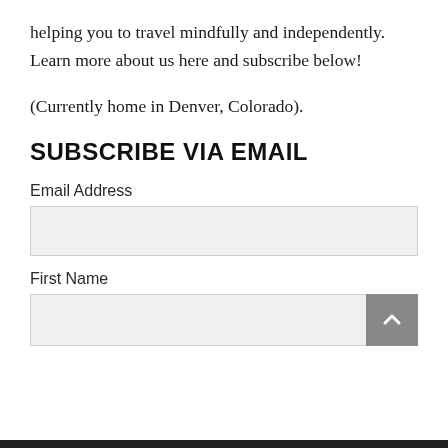helping you to travel mindfully and independently. Learn more about us here and subscribe below!
(Currently home in Denver, Colorado).
SUBSCRIBE VIA EMAIL
Email Address
First Name